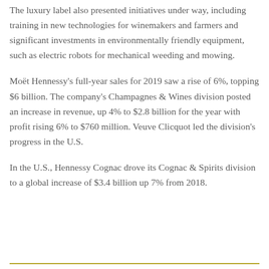The luxury label also presented initiatives under way, including training in new technologies for winemakers and farmers and significant investments in environmentally friendly equipment, such as electric robots for mechanical weeding and mowing.
Moët Hennessy's full-year sales for 2019 saw a rise of 6%, topping $6 billion. The company's Champagnes & Wines division posted an increase in revenue, up 4% to $2.8 billion for the year with profit rising 6% to $760 million. Veuve Clicquot led the division's progress in the U.S.
In the U.S., Hennessy Cognac drove its Cognac & Spirits division to a global increase of $3.4 billion up 7% from 2018.